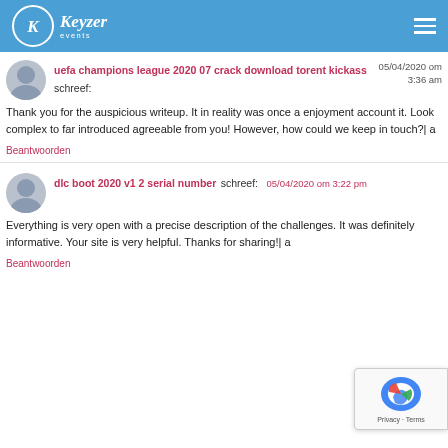Keyzer events
uefa champions league 2020 07 crack download torent kickass schreef: 05/04/2020 om 3:36 am
Thank you for the auspicious writeup. It in reality was once a enjoyment account it. Look complex to far introduced agreeable from you! However, how could we keep in touch?| a
Beantwoorden
dlc boot 2020 v1 2 serial number schreef: 05/04/2020 om 3:22 pm
Everything is very open with a precise description of the challenges. It was definitely informative. Your site is very helpful. Thanks for sharing!| a
Beantwoorden